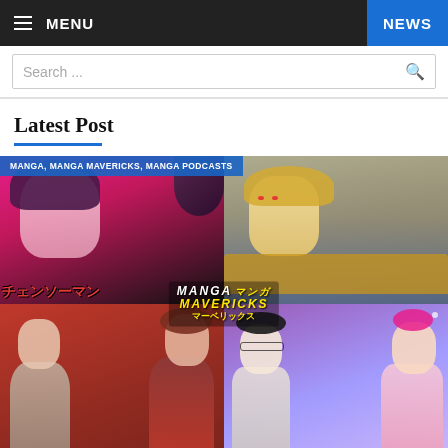☰ MENU | NEWS
Search ...
Latest Post
[Figure (photo): Manga Mavericks podcast cover image showing a 2x2 grid of manga characters: top-left Chainsaw Man with Japanese text チェンソーマン, top-right a blonde armored character, bottom-left two characters on a red background, bottom-right two characters on a purple background. A center logo reads MANGA MAVERICKS マーベリックス in white and yellow text. Tag bar reads: MANGA, MANGA MAVERICKS, MANGA PODCASTS]